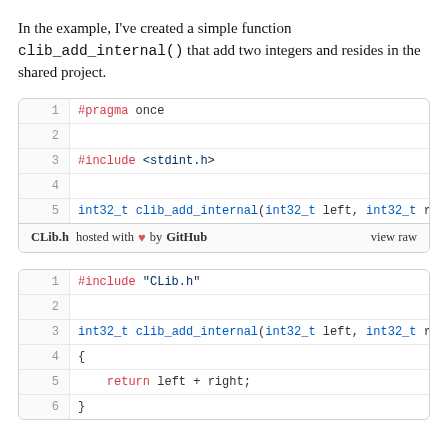In the example, I've created a simple function clib_add_internal() that add two integers and resides in the shared project.
[Figure (screenshot): Code block showing CLib.h header file with #pragma once, #include <stdint.h>, and int32_t clib_add_internal(int32_t left, int32_t right) declaration. Footer shows 'CLib.h hosted with heart by GitHub' and 'view raw'.]
[Figure (screenshot): Code block showing C source file with #include "CLib.h", int32_t clib_add_internal(int32_t left, int32_t right) definition, opening brace, return left + right;, and closing brace.]